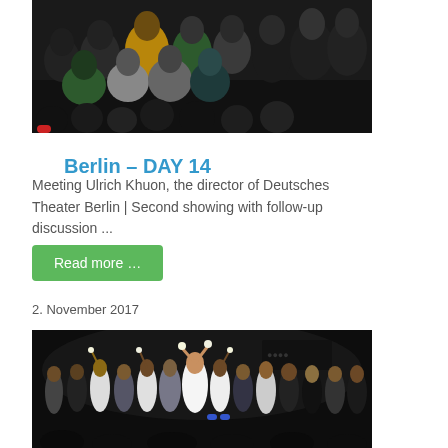[Figure (photo): Audience members seated in a black-box theater, viewed from behind, watching a performance]
Berlin – DAY 14
Meeting Ulrich Khuon, the director of Deutsches Theater Berlin | Second showing with follow-up discussion ...
Read more …
2. November 2017
[Figure (photo): Performers on stage taking a bow, holding flowers, with audience in the foreground]